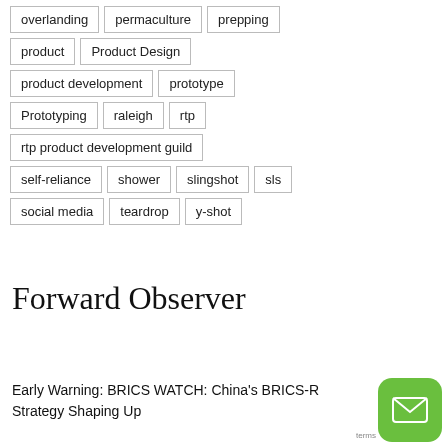overlanding
permaculture
prepping
product
Product Design
product development
prototype
Prototyping
raleigh
rtp
rtp product development guild
self-reliance
shower
slingshot
sls
social media
teardrop
y-shot
Forward Observer
Early Warning: BRICS WATCH: China's BRICS-R Strategy Shaping Up